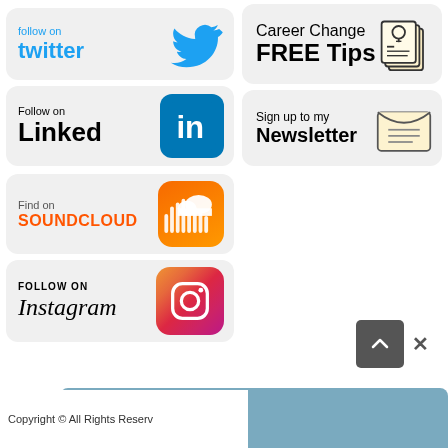[Figure (infographic): Follow on Twitter button with Twitter bird logo]
[Figure (infographic): Career Change FREE Tips widget with document icon]
[Figure (infographic): Follow on LinkedIn button with LinkedIn in logo]
[Figure (infographic): Sign up to my Newsletter widget with envelope icon]
[Figure (infographic): Find on SOUNDCLOUD button with SoundCloud logo]
[Figure (infographic): FOLLOW ON Instagram button with Instagram logo]
[Figure (infographic): Scroll to top button (dark grey chevron up)]
[Figure (infographic): Career Health widget popup bar with close button]
Copyright © All Rights Reserv